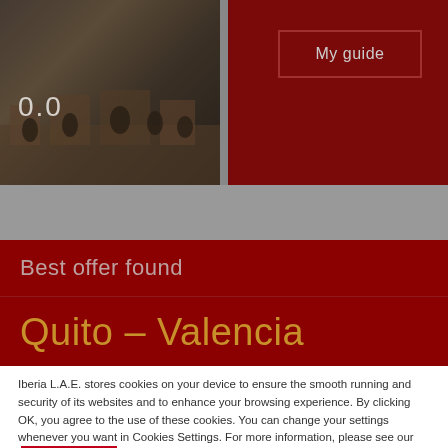[Figure (photo): Screenshot of Iberia travel website showing a historic building/colosseum image on the left panel with rating '0.0', dark red right panel with 'My guide' button, gray middle band, 'Best offer found' section, 'Quito - Valencia' destination text, and a cookie consent overlay.]
0.0
My guide
Best offer found
Quito – Valencia
Iberia L.A.E. stores cookies on your device to ensure the smooth running and security of its websites and to enhance your browsing experience. By clicking OK, you agree to the use of these cookies. You can change your settings whenever you want in Cookies Settings. For more information, please see our Cookies Policy.